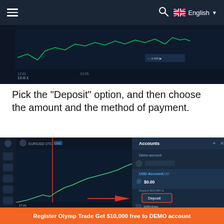English
[Figure (screenshot): Trading platform screenshot showing a dark-themed chart interface with candlestick/line chart data]
Pick the "Deposit" option, and then choose the amount and the method of payment.
[Figure (screenshot): Olymp Trade platform screenshot showing Accounts panel with USD Account ($0.00), Demo account, and Deposit button highlighted with red arrow pointing to Deposit button. Options visible: Withdraw, Transfer, Rename.]
Register Olymp Trade Get $10,000 free to DEMO account